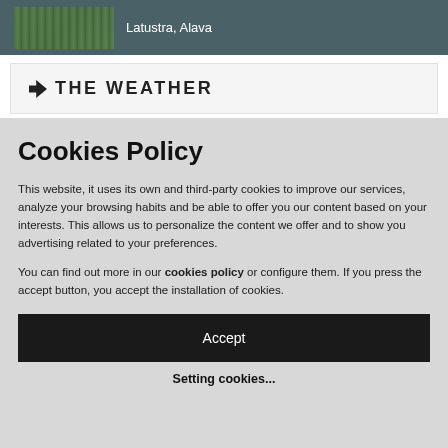Latustra, Alava
THE WEATHER
Cookies Policy
This website, it uses its own and third-party cookies to improve our services, analyze your browsing habits and be able to offer you our content based on your interests. This allows us to personalize the content we offer and to show you advertising related to your preferences.
You can find out more in our cookies policy or configure them. If you press the accept button, you accept the installation of cookies.
Accept
Setting cookies...